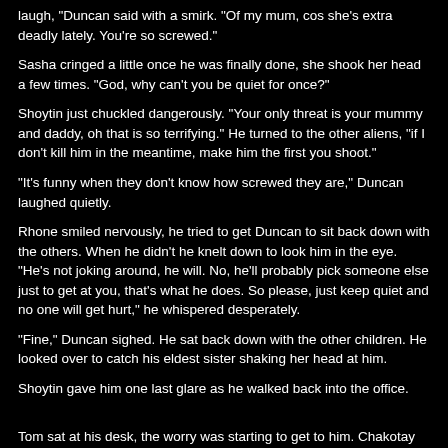laugh, "Duncan said with a smirk. "Of my mum, cos she's extra deadly lately. You're so screwed."
Sasha cringed a little once he was finally done, she shook her head a few times. "God, why can't you be quiet for once?"
Shoytin just chuckled dangerously. "Your only threat is your mummy and daddy, oh that is so terrifying." He turned to the other aliens, "if I don't kill him in the meantime, make him the first you shoot."
"It's funny when they don't know how screwed they are," Duncan laughed quietly.
Rhone smiled nervously, he tried to get Duncan to sit back down with the others. When he didn't he knelt down to look him in the eye. "He's not joking around, he will. No, he'll probably pick someone else just to get at you, that's what he does. So please, just keep quiet and no one will get hurt," he whispered desperately.
"Fine," Duncan sighed. He sat back down with the other children. He looked over to catch his eldest sister shaking her head at him.
Shoytin gave him one last glare as he walked back into the office.
Tom sat at his desk, the worry was starting to get to him. Chakotay and Jessie were in the room with him, almost on the opposite sides of the room to each other. Jessie had taken a seat opposite Tom and his desk.